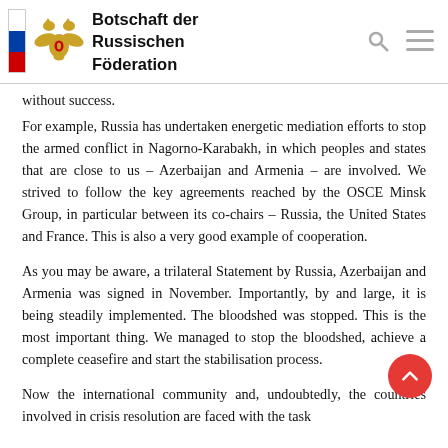Botschaft der Russischen Föderation
without success.
For example, Russia has undertaken energetic mediation efforts to stop the armed conflict in Nagorno-Karabakh, in which peoples and states that are close to us – Azerbaijan and Armenia – are involved. We strived to follow the key agreements reached by the OSCE Minsk Group, in particular between its co-chairs – Russia, the United States and France. This is also a very good example of cooperation.
As you may be aware, a trilateral Statement by Russia, Azerbaijan and Armenia was signed in November. Importantly, by and large, it is being steadily implemented. The bloodshed was stopped. This is the most important thing. We managed to stop the bloodshed, achieve a complete ceasefire and start the stabilisation process.
Now the international community and, undoubtedly, the countries involved in crisis resolution are faced with the task